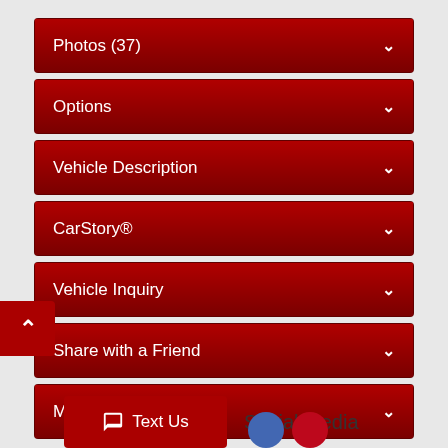Photos (37)
Options
Vehicle Description
CarStory®
Vehicle Inquiry
Share with a Friend
Make Offer
Text Us
Social Media